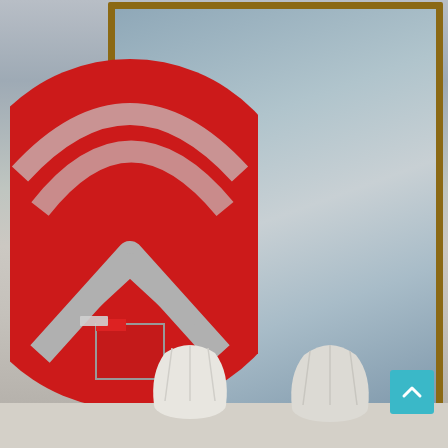[Figure (photo): Website homepage screenshot showing a home renovation brand page. Contains a large red circular logo with a house/rooftop icon and diagonal stripes, the domain name 'renonation.xyz' in white serif text, the tagline 'Your Edge in Home', a hamburger menu button, a teal scroll-to-top arrow button, and decorative white vases in the foreground against a grey wall with a framed art piece in the background.]
renonation.xyz
Your Edge in Home